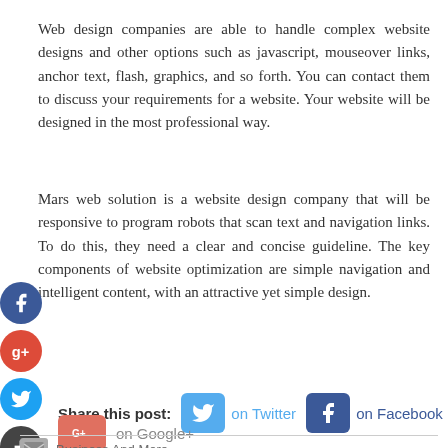Web design companies are able to handle complex website designs and other options such as javascript, mouseover links, anchor text, flash, graphics, and so forth. You can contact them to discuss your requirements for a website. Your website will be designed in the most professional way.
Mars web solution is a website design company that will be responsive to program robots that scan text and navigation links. To do this, they need a clear and concise guideline. The key components of website optimization are simple navigation and intelligent content, with an attractive yet simple design.
Share this post: on Twitter on Facebook on Google+
Business And More